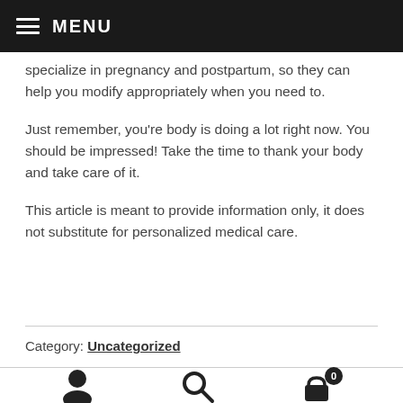MENU
specialize in pregnancy and postpartum, so they can help you modify appropriately when you need to.
Just remember, you're body is doing a lot right now. You should be impressed! Take the time to thank your body and take care of it.
This article is meant to provide information only, it does not substitute for personalized medical care.
Category: Uncategorized